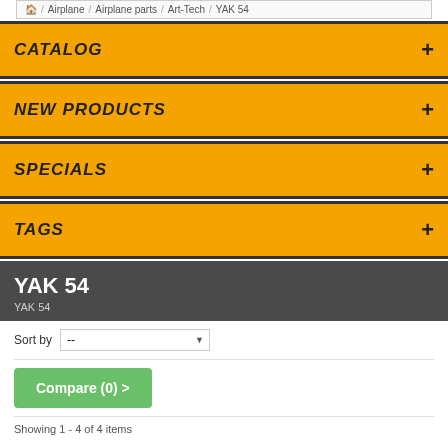Home / Airplane / Airplane parts / Art-Tech / YAK 54
CATALOG
NEW PRODUCTS
SPECIALS
TAGS
YAK 54
YAK 54
Sort by --
Compare (0) >
Showing 1 - 4 of 4 items